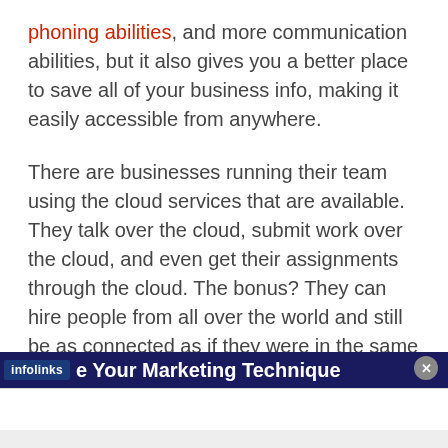phoning abilities, and more communication abilities, but it also gives you a better place to save all of your business info, making it easily accessible from anywhere.
There are businesses running their team using the cloud services that are available. They talk over the cloud, submit work over the cloud, and even get their assignments through the cloud. The bonus? They can hire people from all over the world and still be as connected as if they were in the same room.
e Your Marketing Technique